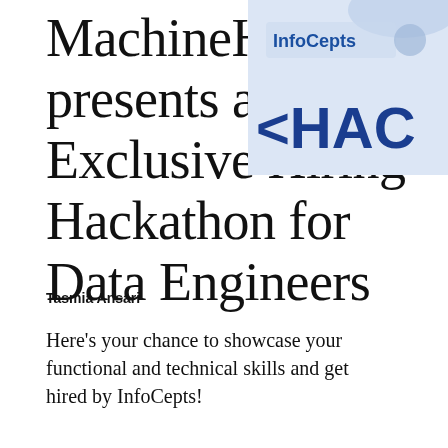MachineHack, presents an Exclusive Hiring Hackathon for Data Engineers
[Figure (illustration): Advertisement banner for InfoCepts hackathon showing 'InfoCepts' text in bold blue and '<HACK' text in large dark blue letters on a light blue background]
Tasmia Ansari
Here's your chance to showcase your functional and technical skills and get hired by InfoCepts!